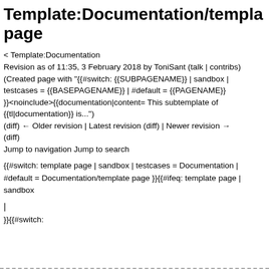Template:Documentation/template page
< Template:Documentation
Revision as of 11:35, 3 February 2018 by ToniSant (talk | contribs)
(Created page with "{{#switch: {{SUBPAGENAME}} | sandbox | testcases = {{BASEPAGENAME}} | #default = {{PAGENAME}}}}<noinclude>{{documentation|content= This subtemplate of {{tl|documentation}} is...")
(diff) ← Older revision | Latest revision (diff) | Newer revision → (diff)
Jump to navigation Jump to search
{{#switch: template page | sandbox | testcases = Documentation |
#default = Documentation/template page }}{{#ifeq: template page |
sandbox
|
}}{{#switch: